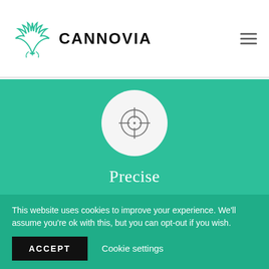[Figure (logo): Cannovia cannabis leaf logo with text CANNOVIA in bold black letters]
[Figure (illustration): Crosshair/target icon inside a white circle on a teal/green background]
Precise
Like a fine bottle of wine, every batch can differ because of nature's variability.
This website uses cookies to improve your experience. We'll assume you're ok with this, but you can opt-out if you wish.
ACCEPT
Cookie settings